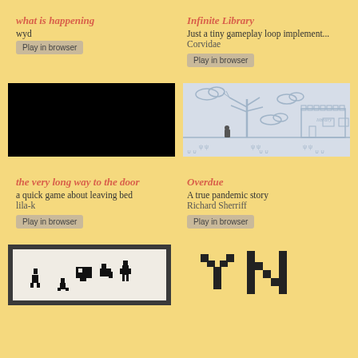what is happening
wyd
Play in browser
Infinite Library
Just a tiny gameplay loop implement...
Corvidae
Play in browser
[Figure (screenshot): Black game screenshot for 'what is happening']
[Figure (screenshot): Pixel art game screenshot for 'Infinite Library' showing a bare tree, character, and library building on a grey background]
the very long way to the door
a quick game about leaving bed
lila-k
Play in browser
Overdue
A true pandemic story
Richard Sherriff
Play in browser
[Figure (screenshot): Game screenshot with white background and pixel art characters on dark border]
[Figure (screenshot): Pixel art logo/text in dark color on yellow background]